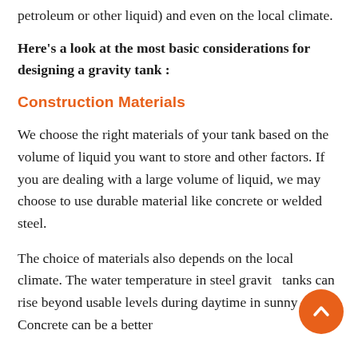petroleum or other liquid) and even on the local climate.
Here's a look at the most basic considerations for designing a gravity tank :
Construction Materials
We choose the right materials of your tank based on the volume of liquid you want to store and other factors. If you are dealing with a large volume of liquid, we may choose to use durable material like concrete or welded steel.
The choice of materials also depends on the local climate. The water temperature in steel gravity tanks can rise beyond usable levels during daytime in sunny areas. Concrete can be a better